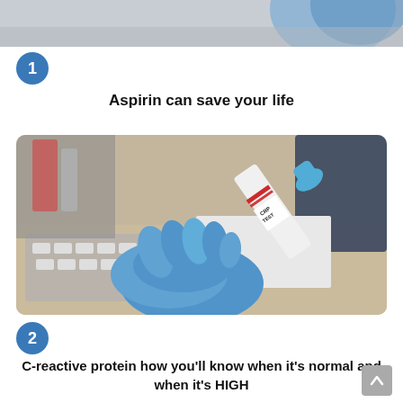[Figure (photo): Partial top image, blurred/cropped — appears to show a blue circular object on a grey background]
1
Aspirin can save your life
[Figure (photo): A gloved hand (blue latex glove) holding a blood collection test tube labeled 'CRP TEST' with a blue cap and red stripe. Background shows a keyboard and lab environment.]
2
C-reactive protein how you'll know when it's normal and when it's HIGH